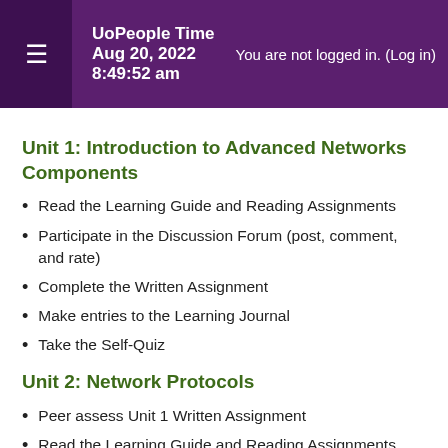UoPeople Time Aug 20, 2022 8:49:52 am You are not logged in. (Log in)
Unit 1: Introduction to Advanced Networks Components
Read the Learning Guide and Reading Assignments
Participate in the Discussion Forum (post, comment, and rate)
Complete the Written Assignment
Make entries to the Learning Journal
Take the Self-Quiz
Unit 2: Network Protocols
Peer assess Unit 1 Written Assignment
Read the Learning Guide and Reading Assignments
Participate in the Discussion Forum (post, comment, and rate)